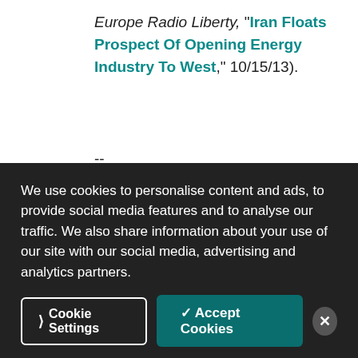Europe Radio Liberty, "Iran Floats Prospect Of Opening Energy Industry To West," 10/15/13).
--
"Several western oil companies also supply jet fuel to the airport - Royal Dutch Shell, BP and Chevron - but they say they source it outside the UAE and in full compliance with sanctions on Iran." (Reuters, 'Dubai flights rely on
We use cookies to personalise content and ads, to provide social media features and to analyse our traffic. We also share information about your use of our site with our social media, advertising and analytics partners.
Cookie Settings   ✓ Accept Cookies   ×
© ... Peter Voser, chief executive of Royal